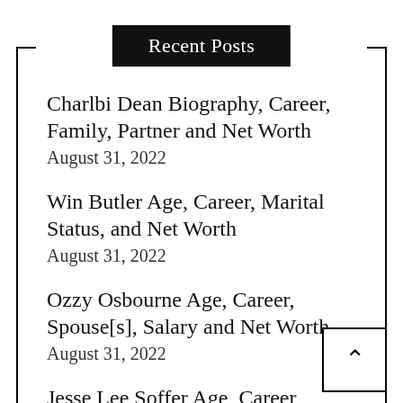Recent Posts
Charlbi Dean Biography, Career, Family, Partner and Net Worth
August 31, 2022
Win Butler Age, Career, Marital Status, and Net Worth
August 31, 2022
Ozzy Osbourne Age, Career, Spouse[s], Salary and Net Worth
August 31, 2022
Jesse Lee Soffer Age, Career,